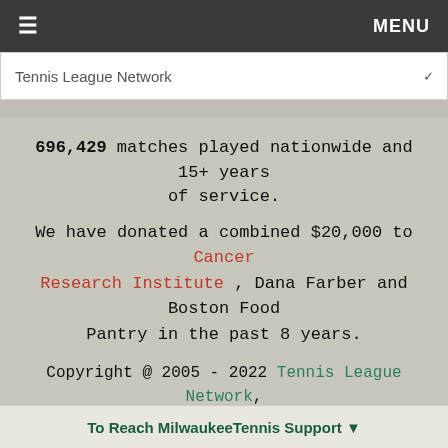≡   MENU
Tennis League Network
696,429 matches played nationwide and 15+ years of service.
We have donated a combined $20,000 to Cancer Research Institute , Dana Farber and Boston Food Pantry in the past 8 years.
Copyright @ 2005 - 2022 Tennis League Network, LLC dba www.MilwaukeeTennisLeague.com
Advertising with our Service
Privacy Policy | GDPR | Terms of Service | Copyright/IP/Policy
To Reach MilwaukeeTennis Support ▼